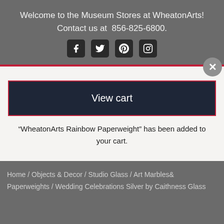Welcome to the Museum Stores at WheatonArts! Contact us at  856-825-6800.
[Figure (infographic): Social media icons: Facebook, Twitter, Pinterest, Instagram]
View cart
"WheatonArts Rainbow Paperweight" has been added to your cart.
Home / Objects & Decor / Studio Glass / Art Marbles& Paperweights / Wedding Celebrations Silver by Caithness Glass